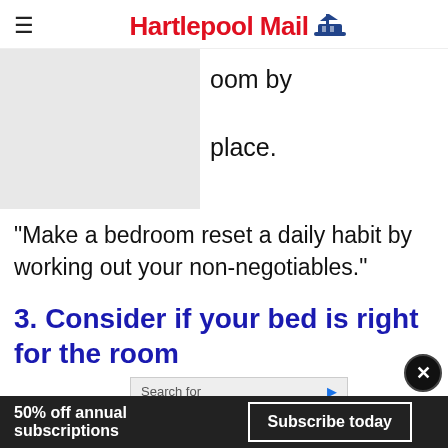Hartlepool Mail
[Figure (screenshot): Partially visible image obscured by grey block, with partial text 'oom by' and 'place.' visible to the right]
“Make a bedroom reset a daily habit by working out your non-negotiables.”
3. Consider if your bed is right for the room
[Figure (screenshot): Yahoo Search sponsored ad: Search for BUILD A LOFT BED with arrow button, Yahoo! Search | Sponsored]
Jona
50% off annual subscriptions  Subscribe today